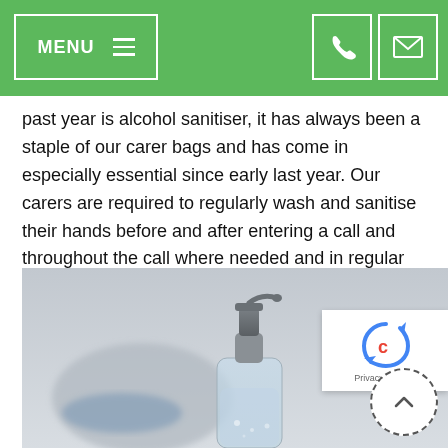MENU
past year is alcohol sanitiser, it has always been a staple of our carer bags and has come in especially essential since early last year. Our carers are required to regularly wash and sanitise their hands before and after entering a call and throughout the call where needed and in regular intervals.
[Figure (photo): Photograph of a clear pump-bottle of hand sanitiser gel in the foreground, with blurred face mask and blue gloves in the background on a grey surface.]